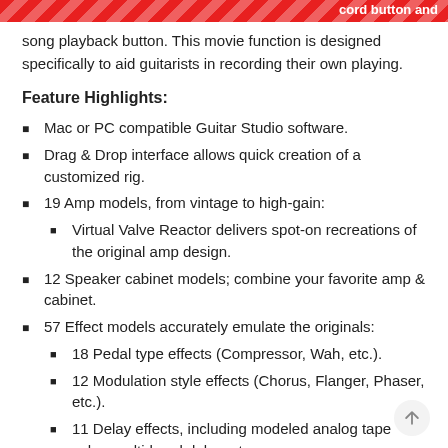cord button and song playback button. This movie function is designed specifically to aid guitarists in recording their own playing.
Feature Highlights:
Mac or PC compatible Guitar Studio software.
Drag & Drop interface allows quick creation of a customized rig.
19 Amp models, from vintage to high-gain:
Virtual Valve Reactor delivers spot-on recreations of the original amp design.
12 Speaker cabinet models; combine your favorite amp & cabinet.
57 Effect models accurately emulate the originals:
18 Pedal type effects (Compressor, Wah, etc.).
12 Modulation style effects (Chorus, Flanger, Phaser, etc.).
11 Delay effects, including modeled analog tape echo, multi-head delay, etc.